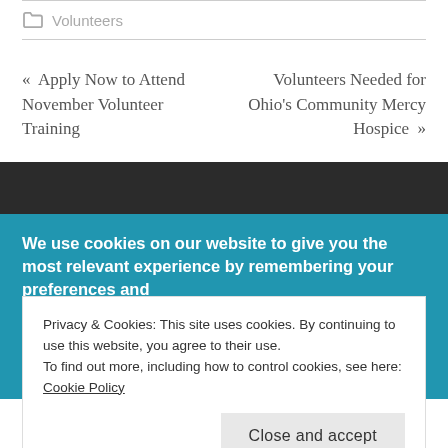Volunteers
« Apply Now to Attend November Volunteer Training
Volunteers Needed for Ohio's Community Mercy Hospice »
We use cookies on our website to give you the most relevant experience by remembering your preferences and
Privacy & Cookies: This site uses cookies. By continuing to use this website, you agree to their use.
To find out more, including how to control cookies, see here: Cookie Policy
Close and accept